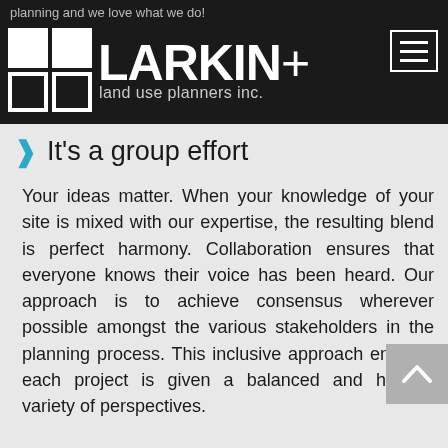planning and we love what we do!
[Figure (logo): Larkin+ land use planners inc. logo — white squares grid on dark background with company name]
It's a group effort
Your ideas matter. When your knowledge of your site is mixed with our expertise, the resulting blend is perfect harmony. Collaboration ensures that everyone knows their voice has been heard. Our approach is to achieve consensus wherever possible amongst the various stakeholders in the planning process. This inclusive approach ensures each project is given a balanced and healthy variety of perspectives.